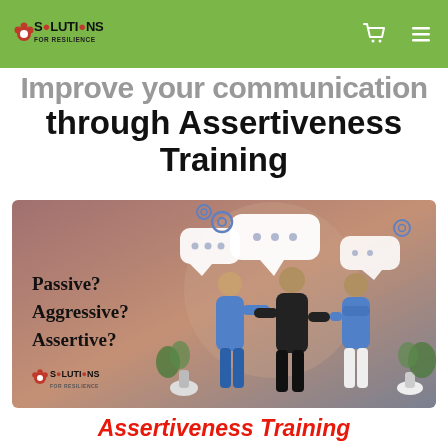Solutions for Resilience
through Assertiveness Training
[Figure (illustration): Marketing illustration on a warm gradient background (mauve/brown) showing three people in conversation with speech bubbles. Text on left reads 'Passive? Aggressive? Assertive?' with Solutions for Resilience logo below.]
Assertiveness Training